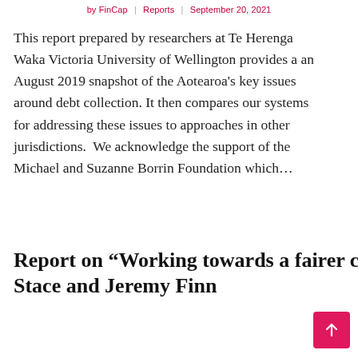by FinCap | Reports | September 20, 2021
This report prepared by researchers at Te Herenga Waka Victoria University of Wellington provides a an August 2019 snapshot of the Aotearoa's key issues around debt collection. It then compares our systems for addressing these issues to approaches in other jurisdictions.  We acknowledge the support of the Michael and Suzanne Borrin Foundation which…
Report on “Working towards a fairer consumer credit market” by Victoria Stace and Jeremy Finn